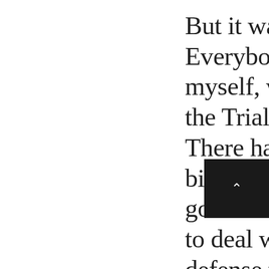But it was a different time. Everybody, including myself, was too focused on the Trial of the Century. There had never been this big of a trial before. The government wasn't prepared to deal with all of the defense team's maneuvers and antics—much less the crisis's impact on the victims' families.

Through the Los Angeles County District Attorney's Office, my family was assigned a victim-witness advocate who was compassionate beyond belief and who played a